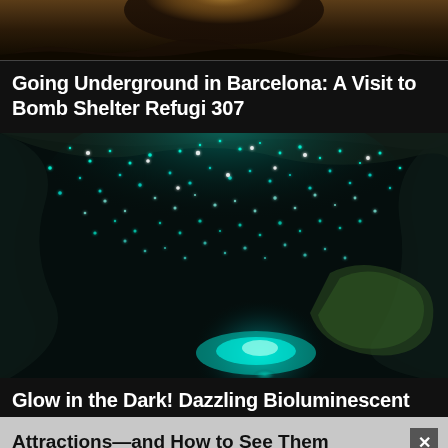[Figure (photo): Dark cave or tunnel interior with warm golden light glowing from above/behind, brown rocky walls fading to black]
Going Underground in Barcelona: A Visit to Bomb Shelter Refugi 307
[Figure (photo): Dark cave interior covered with bioluminescent glowworms emitting teal/cyan light dots across the ceiling and walls, a small glowing teal pool or stream visible at the far end of the cave tunnel]
Glow in the Dark! Dazzling Bioluminescent Attractions—and How to See Them
[Figure (photo): Bottom strip showing dark reddish-brown cave or rocky surface]